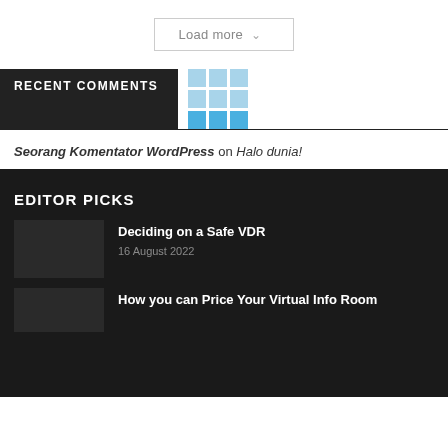Load more
RECENT COMMENTS
[Figure (logo): WordPress logo grid of blue squares]
Seorang Komentator WordPress on Halo dunia!
EDITOR PICKS
Deciding on a Safe VDR
16 August 2022
How you can Price Your Virtual Info Room